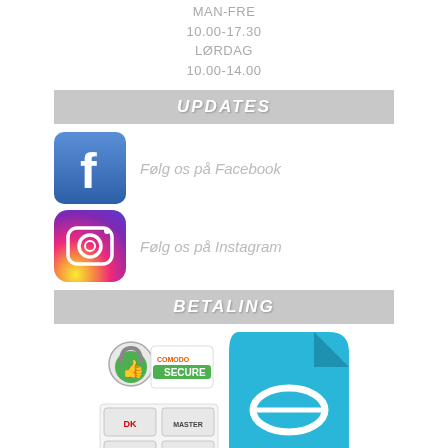MAN-FRE
10.00-17.30
LØRDAG
10.00-14.00
UPDATES
[Figure (logo): Facebook logo icon (blue square with white f)]
Følg os på Facebook
[Figure (logo): Instagram logo icon (colorful gradient square with camera)]
Følg os på Instagram
BETALING
[Figure (logo): Comodo Secure badge with padlock and thumbs up]
[Figure (logo): Credit card logos: Dankort, MasterCard, Maestro, VISA, VISA Electron, MobilePay]
[Figure (logo): e-mærket logo (blue rounded square with white eye/e symbol)]